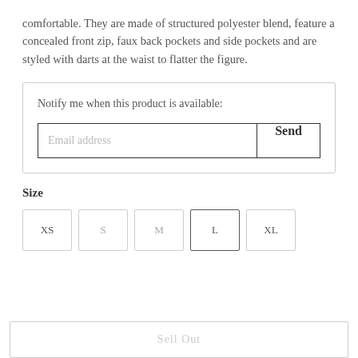comfortable. They are made of structured polyester blend, feature a concealed front zip, faux back pockets and side pockets and are styled with darts at the waist to flatter the figure.
Notify me when this product is available:
Email address
Send
Size
XS S M L XL
Sell Out